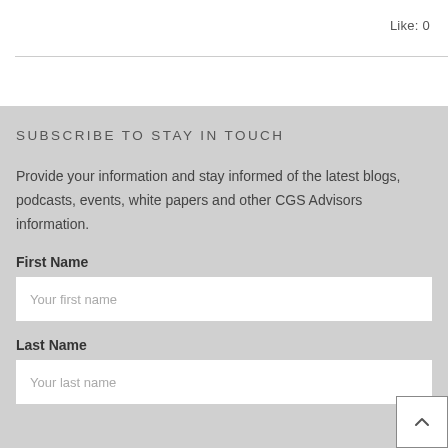Like: 0
SUBSCRIBE TO STAY IN TOUCH
Provide your information and stay informed of the latest blogs, podcasts, events, white papers and other CGS Advisors information.
First Name
Your first name
Last Name
Your last name